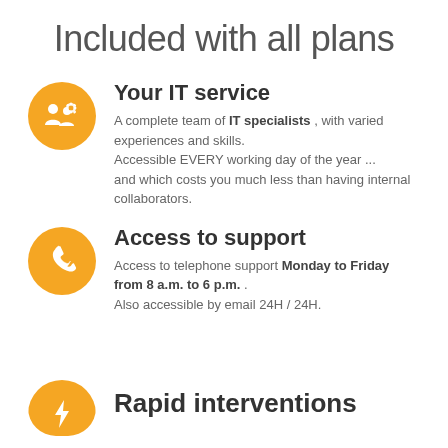Included with all plans
Your IT service — A complete team of IT specialists, with varied experiences and skills. Accessible EVERY working day of the year ... and which costs you much less than having internal collaborators.
Access to support — Access to telephone support Monday to Friday from 8 a.m. to 6 p.m. . Also accessible by email 24H / 24H.
Rapid interventions